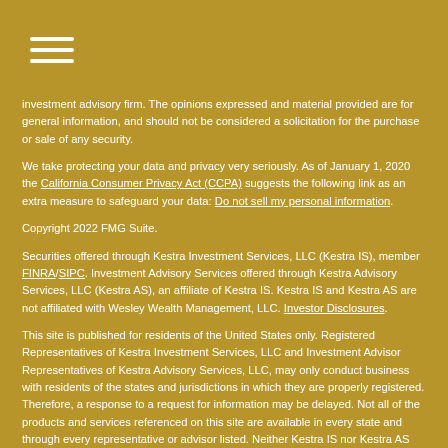Menu icon / hamburger navigation
investment advisory firm. The opinions expressed and material provided are for general information, and should not be considered a solicitation for the purchase or sale of any security.
We take protecting your data and privacy very seriously. As of January 1, 2020 the California Consumer Privacy Act (CCPA) suggests the following link as an extra measure to safeguard your data: Do not sell my personal information.
Copyright 2022 FMG Suite.
Securities offered through Kestra Investment Services, LLC (Kestra IS), member FINRA/SIPC. Investment Advisory Services offered through Kestra Advisory Services, LLC (Kestra AS), an affiliate of Kestra IS. Kestra IS and Kestra AS are not affiliated with Wesley Wealth Management, LLC. Investor Disclosures.
This site is published for residents of the United States only. Registered Representatives of Kestra Investment Services, LLC and Investment Advisor Representatives of Kestra Advisory Services, LLC, may only conduct business with residents of the states and jurisdictions in which they are properly registered. Therefore, a response to a request for information may be delayed. Not all of the products and services referenced on this site are available in every state and through every representative or advisor listed. Neither Kestra IS nor Kestra AS provides legal or tax advice. For additional information, please contact our Compliance department at 844-553-7872.